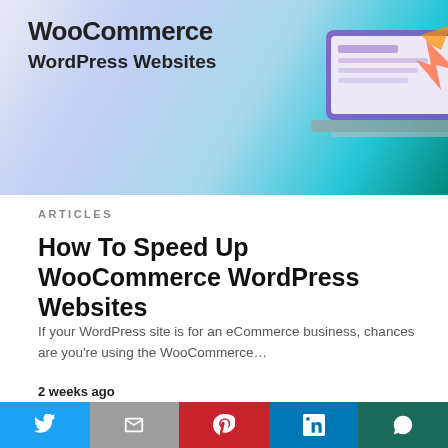[Figure (illustration): Hero banner with WooCommerce WordPress Websites text and laptop graphic on blue-teal gradient background]
ARTICLES
How To Speed Up WooCommerce WordPress Websites
If your WordPress site is for an eCommerce business, chances are you're using the WooCommerce…
2 weeks ago
This website uses cookies.
[Figure (infographic): Social share bar with Twitter, Gmail, Pinterest, LinkedIn, WhatsApp buttons]